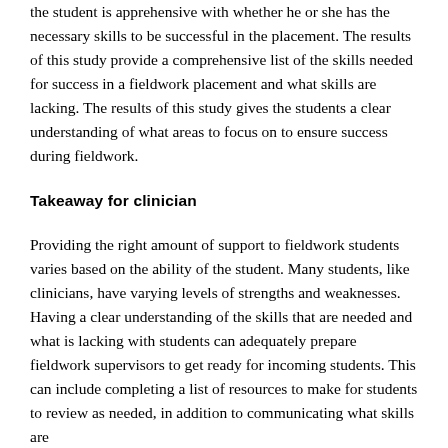the student is apprehensive with whether he or she has the necessary skills to be successful in the placement. The results of this study provide a comprehensive list of the skills needed for success in a fieldwork placement and what skills are lacking. The results of this study gives the students a clear understanding of what areas to focus on to ensure success during fieldwork.
Takeaway for clinician
Providing the right amount of support to fieldwork students varies based on the ability of the student. Many students, like clinicians, have varying levels of strengths and weaknesses. Having a clear understanding of the skills that are needed and what is lacking with students can adequately prepare fieldwork supervisors to get ready for incoming students. This can include completing a list of resources to make for students to review as needed, in addition to communicating what skills are